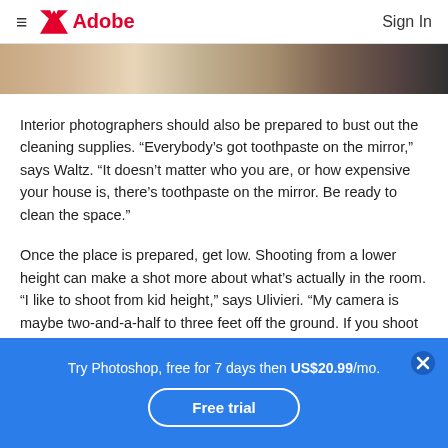Adobe — Sign In
[Figure (photo): Partial view of an interior room with wooden floor and decorative rug, cropped strip at top of content area]
Interior photographers should also be prepared to bust out the cleaning supplies. “Everybody’s got toothpaste on the mirror,” says Waltz. “It doesn’t matter who you are, or how expensive your house is, there’s toothpaste on the mirror. Be ready to clean the space.”
Once the place is prepared, get low. Shooting from a lower height can make a shot more about what’s actually in the room. “I like to shoot from kid height,” says Ulivieri. “My camera is maybe two-and-a-half to three feet off the ground. If you shoot lower it helps you focus on the details of the space.” That lower vantage point allows
Try Photoshop, free for 7 days then US$20.99/mo.
Free trial